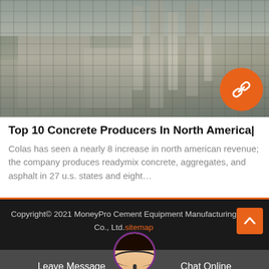[Figure (photo): Industrial cement plant with tall silos, towers, and factory buildings. An orange circular badge with a chain-link icon appears in the bottom-right corner.]
Top 10 Concrete Producers In North America|
Colas has seen a nearly 8 increase in north american revenue; the company produces readymix concrete, aggregates, and asphalt in 27 u.s. states and eight…
Copyright© 2021 MoneyPro Cement Equipment Manufacturing Co., Ltd.sitemap
Leave Message    Chat Online